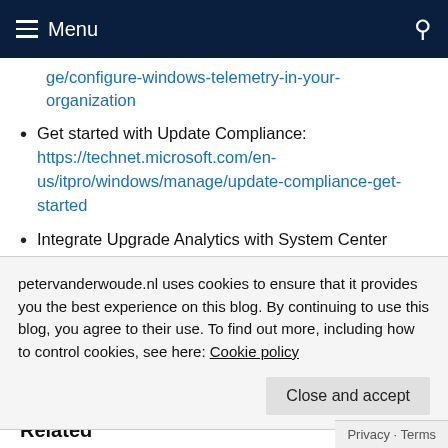Menu
ge/configure-windows-telemetry-in-your-organization (partial URL, continuation from previous page)
Get started with Update Compliance: https://technet.microsoft.com/en-us/itpro/windows/manage/update-compliance-get-started
Integrate Upgrade Analytics with System Center Configuration Manager: https://docs.microsoft.com/en-us/sccm/core/clients/manage/upgrade/upgrade-
petervanderwoude.nl uses cookies to ensure that it provides you the best experience on this blog. By continuing to use this blog, you agree to their use. To find out more, including how to control cookies, see here: Cookie policy
Close and accept
Privacy · Terms
Related